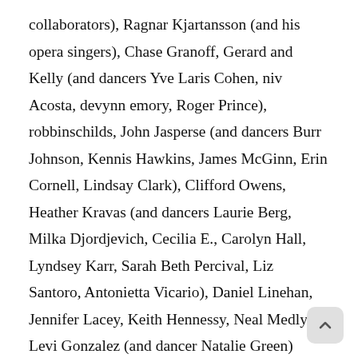collaborators), Ragnar Kjartansson (and his opera singers), Chase Granoff, Gerard and Kelly (and dancers Yve Laris Cohen, niv Acosta, devynn emory, Roger Prince), robbinschilds, John Jasperse (and dancers Burr Johnson, Kennis Hawkins, James McGinn, Erin Cornell, Lindsay Clark), Clifford Owens, Heather Kravas (and dancers Laurie Berg, Milka Djordjevich, Cecilia E., Carolyn Hall, Lyndsey Karr, Sarah Beth Percival, Liz Santoro, Antonietta Vicario), Daniel Linehan, Jennifer Lacey, Keith Hennessy, Neal Medlyn, Levi Gonzalez (and dancer Natalie Green) Sarah Michelson (and dancers Nicole Mannarino, Eleanor Hullihan, James Kidd, Charlotte Cullinan), Dawn Kasper, Bridget Everett, CA Conrad, Yvonne Meier (and performers Aki Sasamoto, Arturo Vidich), Dynasty Handbag,